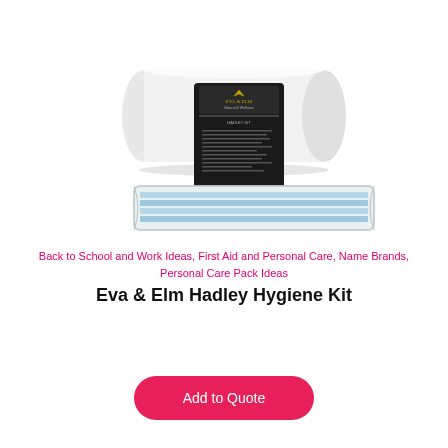[Figure (photo): Eva & Elm Hadley Hygiene Kit product photo showing a white pillow-style box with a black label/packet in front of it, and a clear plastic-wrapped blue item (face mask) in front of that.]
Back to School and Work Ideas, First Aid and Personal Care, Name Brands, Personal Care Pack Ideas
Eva & Elm Hadley Hygiene Kit
Add to Quote